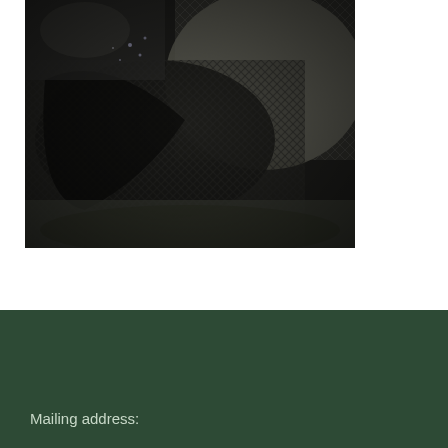[Figure (photo): Person holding a wet fishing net with mesh visible, close-up shot with water droplets, dark background]
DENEKI OUTDOORS
Mailing address: